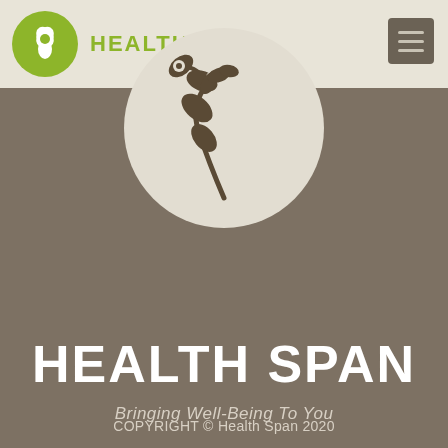[Figure (logo): Health Span logo with green circular emblem containing white flower/leaf motif, and green bold text HEALTH SPAN in header bar]
[Figure (illustration): Large circular emblem with beige/cream background showing dark brown botanical branch with leaves and flowers motif, centered on dark brown/taupe background]
HEALTH SPAN
Bringing Well-Being To You
[Figure (other): Yellow-green hamburger/menu button icon]
COPYRIGHT © Health Span 2020